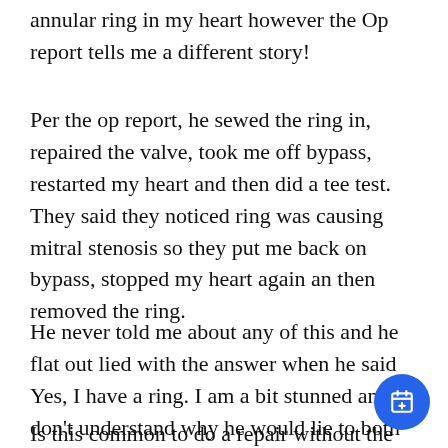annular ring in my heart however the Op report tells me a different story!
Per the op report, he sewed the ring in, repaired the valve, took me off bypass, restarted my heart and then did a tee test. They said they noticed ring was causing mitral stenosis so they put me back on bypass, stopped my heart again an then removed the ring.
He never told me about any of this and he flat out lied with the answer when he said Yes, I have a ring. I am a bit stunned and don't understand why he would lie to both my husband and I about it.
Is this common to do a repair without the